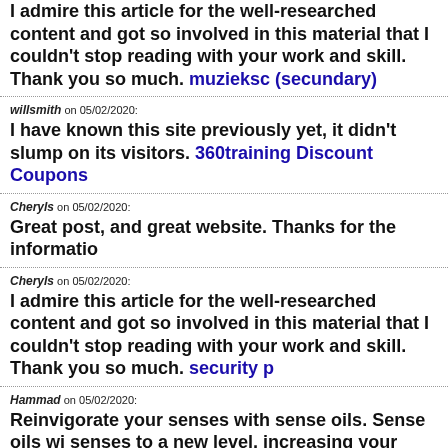I admire this article for the well-researched content and got so involved in this material that I couldn't stop reading with your work and skill. Thank you so much. muzieksc (secundary)
willsmith on 05/02/2020: I have known this site previously yet, it didn't slump on its visitors. 360training Discount Coupons
Cheryls on 05/02/2020: Great post, and great website. Thanks for the informatio
Cheryls on 05/02/2020: I admire this article for the well-researched content and got so involved in this material that I couldn't stop reading with your work and skill. Thank you so much. security p
Hammad on 05/02/2020: Reinvigorate your senses with sense oils. Sense oils will senses to a new level, increasing your energy and overall have an interest in aromatherapy then your senses have right place, sense essential oils and carrier oils are of the and completely pure, natural and organic. allnatural
Toiture Saint-Jérôme on 05/02/2020: